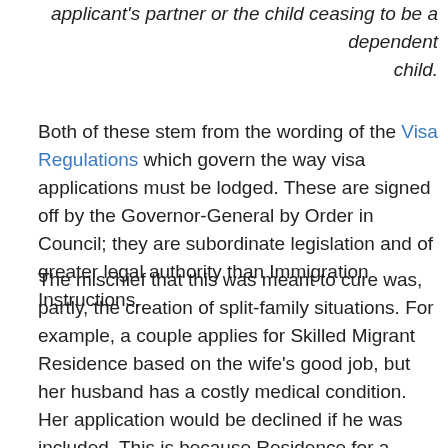applicant's partner or the child ceasing to be a dependent child.
Both of these stem from the wording of the Visa Regulations which govern the way visa applications must be lodged. These are signed off by the Governor-General by Order in Council; they are subordinate legislation and of greater legal authority than Immigration Instructions.
The mischief that this was meant to cure was, partly, the creation of split-family situations. For example, a couple applies for Skilled Migrant Residence based on the wife's good job, but her husband has a costly medical condition. Her application would be declined if he was included. This is because Residence for a family group is a single application – if one person doesn't qualify, they all get declined. So they agree to take him off the application, and